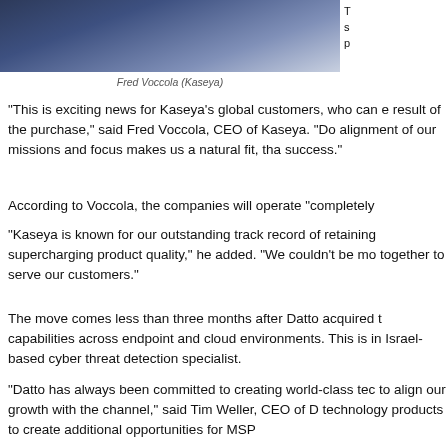[Figure (photo): Photo of Fred Voccola (Kaseya), a man in a dark suit, cropped at top of page]
Fred Voccola (Kaseya)
"This is exciting news for Kaseya’s global customers, who can e result of the purchase," said Fred Voccola, CEO of Kaseya. “Do alignment of our missions and focus makes us a natural fit, tha success."
According to Voccola, the companies will operate “completely
“Kaseya is known for our outstanding track record of retaining supercharging product quality,” he added. “We couldn’t be mo together to serve our customers.”
The move comes less than three months after Datto acquired t capabilities across endpoint and cloud environments. This is in Israel-based cyber threat detection specialist.
“Datto has always been committed to creating world-class tec to align our growth with the channel,” said Tim Weller, CEO of D technology products to create additional opportunities for MSP